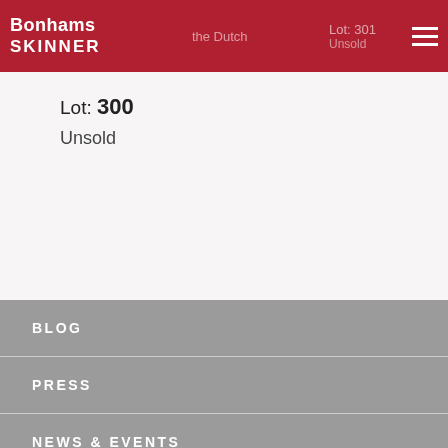Bonhams SKINNER | the Dutch | Lot: 301 | Unsold
Lot: 300
Unsold
BLOG
PRESS
NEWS & EVENTS
FORMS